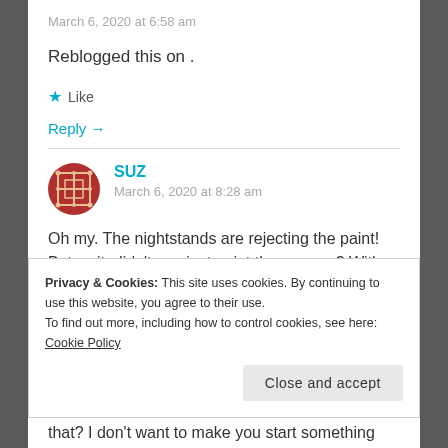March 6, 2020 at 6:58 am
Reblogged this on .
★ Like
Reply →
SUZ
March 6, 2020 at 8:28 am
Oh my. The nightstands are rejecting the paint! But wait. didn't you just paint them green? With
Privacy & Cookies: This site uses cookies. By continuing to use this website, you agree to their use.
To find out more, including how to control cookies, see here: Cookie Policy
Close and accept
that? I don't want to make you start something